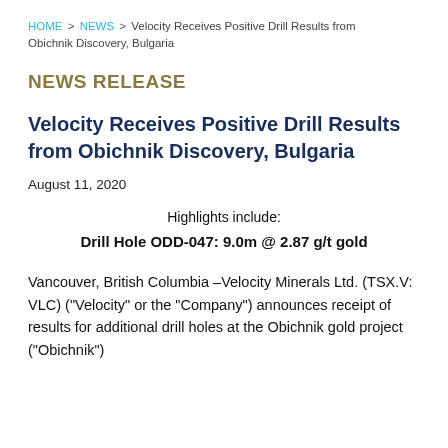HOME > NEWS > Velocity Receives Positive Drill Results from Obichnik Discovery, Bulgaria
NEWS RELEASE
Velocity Receives Positive Drill Results from Obichnik Discovery, Bulgaria
August 11, 2020
Highlights include:
Drill Hole ODD-047: 9.0m @ 2.87 g/t gold
Vancouver, British Columbia –Velocity Minerals Ltd. (TSX.V: VLC) ("Velocity" or the "Company") announces receipt of results for additional drill holes at the Obichnik gold project ("Obichnik")